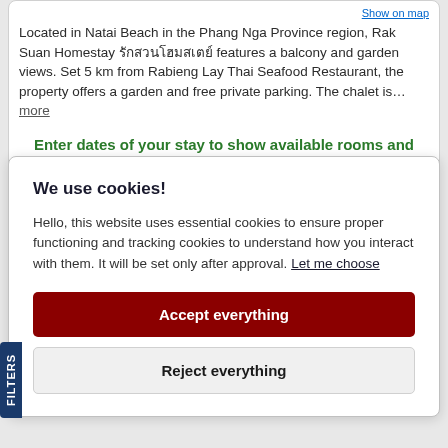Show on map
Located in Natai Beach in the Phang Nga Province region, Rak Suan Homestay รักสวนโฮมสเตย์ features a balcony and garden views. Set 5 km from Rabieng Lay Thai Seafood Restaurant, the property offers a garden and free private parking. The chalet is… more
Enter dates of your stay to show available rooms and prices
Lantala
Rating:
We use cookies!
Hello, this website uses essential cookies to ensure proper functioning and tracking cookies to understand how you interact with them. It will be set only after approval. Let me choose
Accept everything
Reject everything
FILTERS